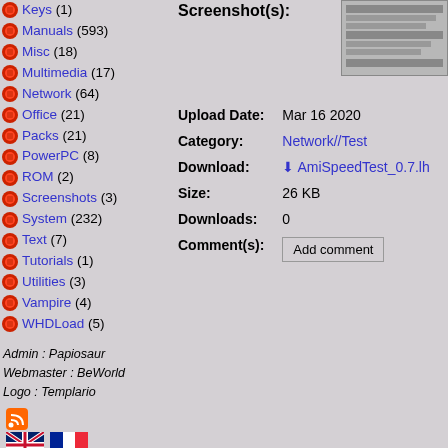Keys (1)
Manuals (593)
Misc (18)
Multimedia (17)
Network (64)
Office (21)
Packs (21)
PowerPC (8)
ROM (2)
Screenshots (3)
System (232)
Text (7)
Tutorials (1)
Utilities (3)
Vampire (4)
WHDLoad (5)
Screenshot(s):
[Figure (screenshot): Small screenshot thumbnail of AmiSpeedTest application showing network test results]
| Upload Date: | Mar 16 2020 |
| Category: | Network//Test |
| Download: | AmiSpeedTest_0.7.lh |
| Size: | 26 KB |
| Downloads: | 0 |
| Comment(s): | Add comment |
Admin : Papiosaur
Webmaster : BeWorld
Logo : Templario
[Figure (logo): RSS feed icon]
[Figure (illustration): UK flag and French flag icons for language selection]